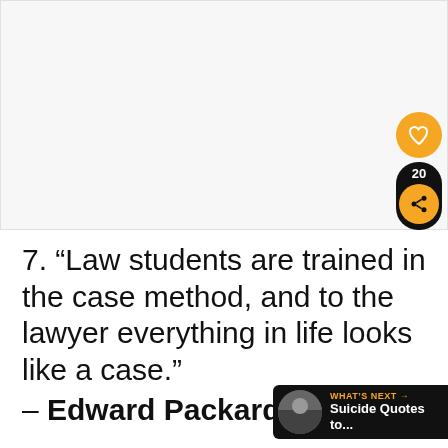[Figure (other): Blank white/light gray rectangular area at top of page, appears to be a placeholder or image area]
7. “Law students are trained in the case method, and to the lawyer everything in life looks like a case.” – Edward Packard, Jr.
8. “A lawyer will do anything to...